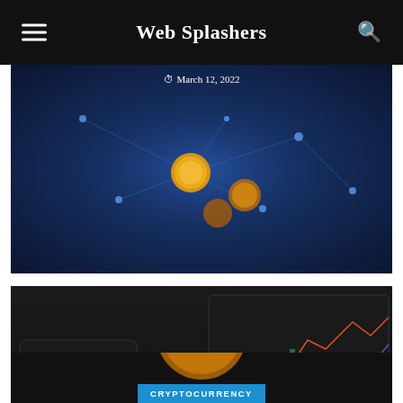Web Splashers
[Figure (photo): Cryptocurrency/blockchain themed dark blue image with glowing network nodes and coins, showing date March 12, 2022]
[Figure (photo): Dark themed photo showing a laptop with stock/crypto chart, calculator, and golden Bitcoin coins. Overlay text shows CRYPTOCURRENCY category badge, headline 'Where is the all crypto market headed in 2021', and date October 2, 2021]
[Figure (photo): Dark themed partial photo showing a coin/token, with CRYPTOCURRENCY category badge partially visible at bottom]